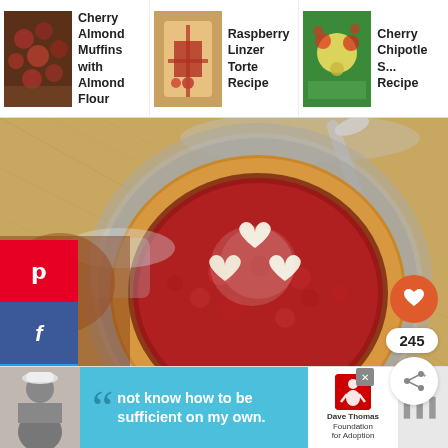[Figure (photo): Navigation thumbnails row: Cherry Almond Muffins with Almond Flour, Raspberry Linzer Torte Recipe, Cherry Chipotle S... Recipe]
Cherry Almond Muffins with Almond Flour
Raspberry Linzer Torte Recipe
Cherry Chipotle S... Recipe
[Figure (photo): Hero image of a Raspberry Linzer Torte tart with heart-shaped pastry cutouts dusted with powdered sugar on a bed of raspberry jam in a fluted tart shell, on a decorative silver plate, with a spoon in the background on burlap.]
[Figure (infographic): Social share sidebar with Pinterest (red), Facebook (dark blue), Twitter (light blue), and Yummly (orange) buttons]
[Figure (infographic): Floating action buttons: orange heart/like button, count badge showing 245, and share button]
[Figure (photo): Advertisement banner: Dave Thomas Foundation for Adoption — quote 'not know how to be sufficient on my own.' with photo of person and logo]